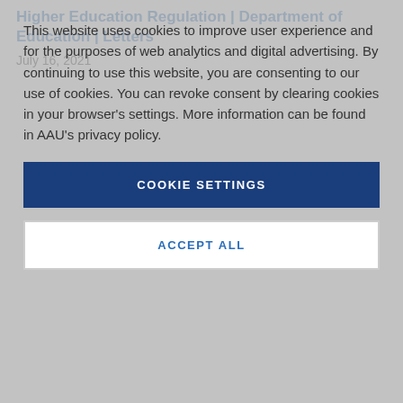Higher Education Regulation | Department of Education | Letters
July 16, 2021
This website uses cookies to improve user experience and for the purposes of web analytics and digital advertising. By continuing to use this website, you are consenting to our use of cookies. You can revoke consent by clearing cookies in your browser's settings. More information can be found in AAU's privacy policy.
COOKIE SETTINGS
ACCEPT ALL